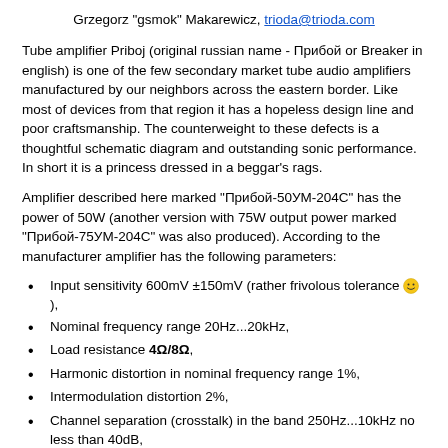Grzegorz "gsmok" Makarewicz, trioda@trioda.com
Tube amplifier Priboj (original russian name - Прибой or Breaker in english) is one of the few secondary market tube audio amplifiers manufactured by our neighbors across the eastern border. Like most of devices from that region it has a hopeless design line and poor craftsmanship. The counterweight to these defects is a thoughtful schematic diagram and outstanding sonic performance. In short it is a princess dressed in a beggar's rags.
Amplifier described here marked "Прибой-50УМ-204С" has the power of 50W (another version with 75W output power marked "Прибой-75УМ-204С" was also produced). According to the manufacturer amplifier has the following parameters:
Input sensitivity 600mV ±150mV (rather frivolous tolerance 😊),
Nominal frequency range 20Hz...20kHz,
Load resistance 4Ω/8Ω,
Harmonic distortion in nominal frequency range 1%,
Intermodulation distortion 2%,
Channel separation (crosstalk) in the band 250Hz...10kHz no less than 40dB,
S/N 86dB,